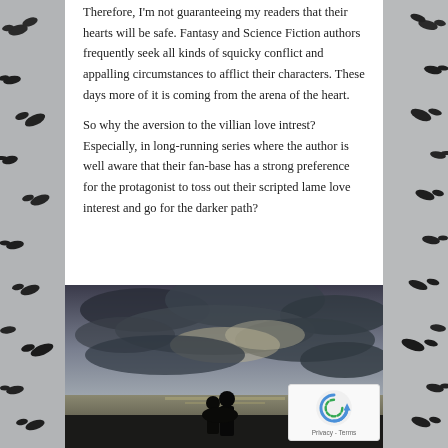Therefore, I'm not guaranteeing my readers that their hearts will be safe. Fantasy and Science Fiction authors frequently seek all kinds of squicky conflict and appalling circumstances to afflict their characters. These days more of it is coming from the arena of the heart.
So why the aversion to the villian love intrest? Especially, in long-running series where the author is well aware that their fan-base has a strong preference for the protagonist to toss out their scripted lame love interest and go for the darker path?
[Figure (photo): Silhouette of two people (couple) standing together against a dramatic cloudy sky over water/landscape, dark atmospheric tones]